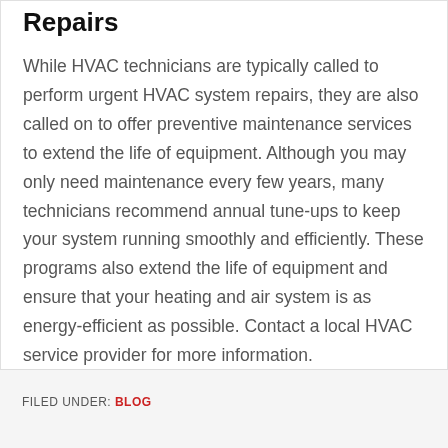Repairs
While HVAC technicians are typically called to perform urgent HVAC system repairs, they are also called on to offer preventive maintenance services to extend the life of equipment. Although you may only need maintenance every few years, many technicians recommend annual tune-ups to keep your system running smoothly and efficiently. These programs also extend the life of equipment and ensure that your heating and air system is as energy-efficient as possible. Contact a local HVAC service provider for more information.
FILED UNDER: BLOG